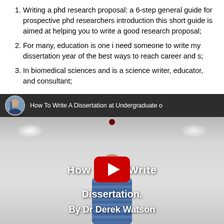Writing a phd research proposal: a 6-step general guide for prospective phd researchers introduction this short guide is aimed at helping you to write a good research proposal;
For many, education is one i need someone to write my dissertation year of the best ways to reach career and s;
In biomedical sciences and is a science writer, educator, and consultant;
[Figure (screenshot): YouTube video thumbnail showing a presenter in a striped shirt in front of a whiteboard. Video title reads 'How To Write A Dissertation at Undergraduate o'. Text overlays read 'How Write', 'Dissertation.' and 'By Dr Derek Watson'. A YouTube play button is displayed in the center. A small profile photo of a man in a suit is shown in the top-left corner of the video player.]